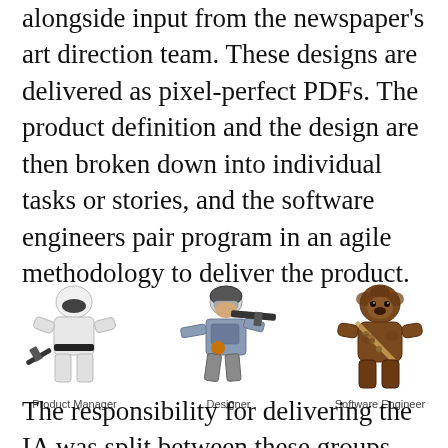alongside input from the newspaper's art direction team. These designs are delivered as pixel-perfect PDFs. The product definition and the design are then broken down into individual tasks or stories, and the software engineers pair program in an agile methodology to deliver the product.
[Figure (illustration): Three LEGO Star Wars minifigures representing team roles: a Stormtrooper labeled 'Product Manager', a rebel soldier with gun labeled 'Designer', and Chewbacca labeled 'Software Engineer'.]
The responsibility for delivering the IA was split between these groups. Product